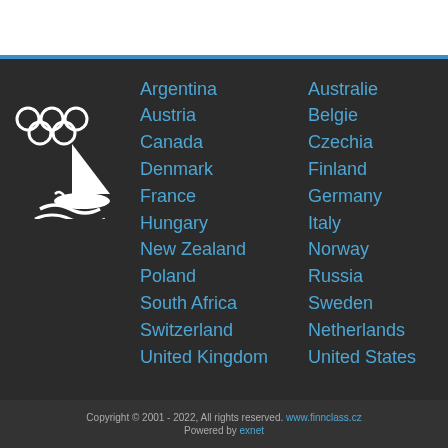[Figure (logo): Olympic rings and sailboat logo (Finn class sailing) in white on dark background]
Argentina
Australie
Austria
Belgie
Canada
Czechia
Denmark
Finland
France
Germany
Hungary
Italy
New Zealand
Norway
Poland
Russia
South Africa
Sweden
Switzerland
Netherlands
United Kingdom
United States
Copyright © 2001 - 2022, All rights reserved. www.finnclass.cz Powered by exnet